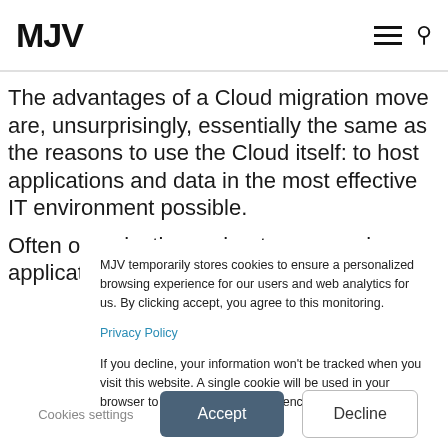MJV
The advantages of a Cloud migration move are, unsurprisingly, essentially the same as the reasons to use the Cloud itself: to host applications and data in the most effective IT environment possible.
Often organizations migrate on-premises applications and
MJV temporarily stores cookies to ensure a personalized browsing experience for our users and web analytics for us. By clicking accept, you agree to this monitoring.
Privacy Policy
If you decline, your information won't be tracked when you visit this website. A single cookie will be used in your browser to remember your preference not to be tracked.
Cookies settings   Accept   Decline